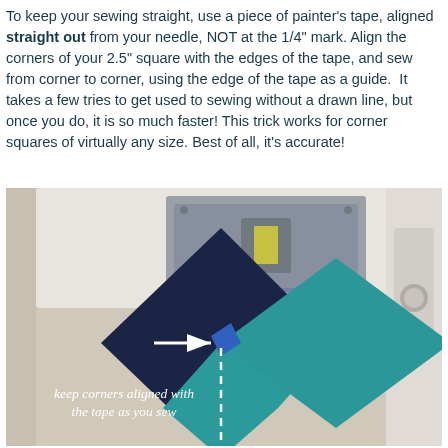To keep your sewing straight, use a piece of painter's tape, aligned straight out from your needle, NOT at the 1/4" mark. Align the corners of your 2.5" square with the edges of the tape, and sew from corner to corner, using the edge of the tape as a guide. It takes a few tries to get used to sewing without a drawn line, but once you do, it is so much faster! This trick works for corner squares of virtually any size. Best of all, it's accurate!
[Figure (photo): Photo of a sewing machine with two fabric squares (dark navy and teal) positioned diagonally on the machine bed. A white arrow points to where the corners of the squares meet, and a dashed white vertical line shows the tape guide. Text overlay reads 'keep corners aligned with the tape as you sew'.]